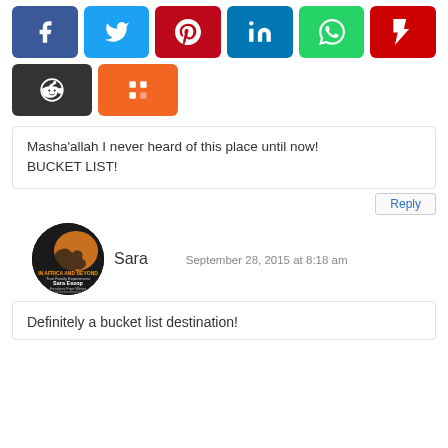[Figure (other): Social media share buttons: Facebook, Twitter, Pinterest, LinkedIn, WhatsApp, Flipboard, Reddit, Mix]
Masha'allah I never heard of this place until now! BUCKET LIST!
Reply
[Figure (photo): Circular avatar for Sara Essop - In Africa and Beyond blog logo]
Sara     September 28, 2015 at 8:18 am
Definitely a bucket list destination!